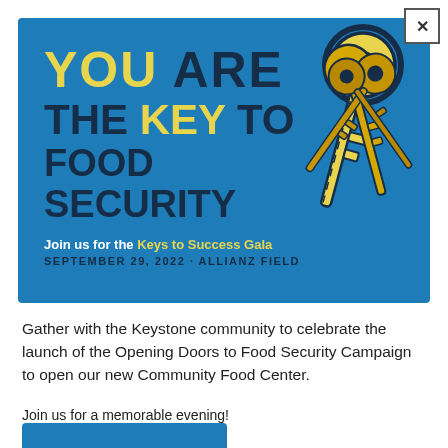[Figure (illustration): Blue banner event advertisement. Large text reads 'YOU ARE THE KEY TO FOOD SECURITY' with keys illustration on the right. Subtext: 'Join us for the Keys to Success Gala, SEPTEMBER 29, 2022 · ALLIANZ FIELD']
Gather with the Keystone community to celebrate the launch of the Opening Doors to Food Security Campaign to open our new Community Food Center.
Join us for a memorable evening!